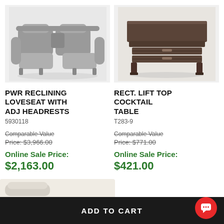[Figure (photo): Gray fabric power reclining loveseat with adjustable headrests, shown from front angle]
[Figure (photo): Dark brown rectangular lift top cocktail table with two drawers, shown from front angle]
PWR RECLINING LOVESEAT WITH ADJ HEADRESTS
5930118
Comparable Value Price: $3,966.00
Online Sale Price:
$2,163.00
RECT. LIFT TOP COCKTAIL TABLE
T283-9
Comparable Value Price: $771.00
Online Sale Price:
$421.00
ADD TO CART